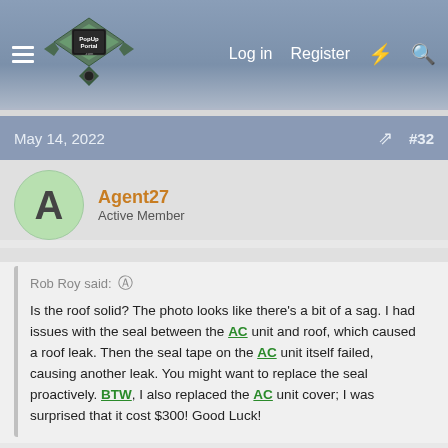PopUpPortal.com — Log in  Register
May 14, 2022  #32
Agent27
Active Member
Rob Roy said: Is the roof solid? The photo looks like there's a bit of a sag. I had issues with the seal between the AC unit and roof, which caused a roof leak. Then the seal tape on the AC unit itself failed, causing another leak. You might want to replace the seal proactively. BTW, I also replaced the AC unit cover; I was surprised that it cost $300! Good Luck!
Roof is good. Going to replace the AC shroud once the higher priced items are done.